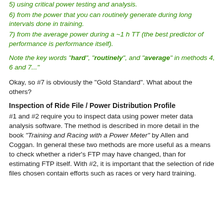5) using critical power testing and analysis.
6) from the power that you can routinely generate during long intervals done in training.
7) from the average power during a ~1 h TT (the best predictor of performance is performance itself).
Note the key words "hard", "routinely", and "average" in methods 4, 6 and 7..."
Okay, so #7 is obviously the "Gold Standard". What about the others?
Inspection of Ride File / Power Distribution Profile
#1 and #2 require you to inspect data using power meter data analysis software. The method is described in more detail in the book "Training and Racing with a Power Meter" by Allen and Coggan. In general these two methods are more useful as a means to check whether a rider's FTP may have changed, than for estimating FTP itself. With #2, it is important that the selection of ride files chosen contain efforts such as races or very hard training.